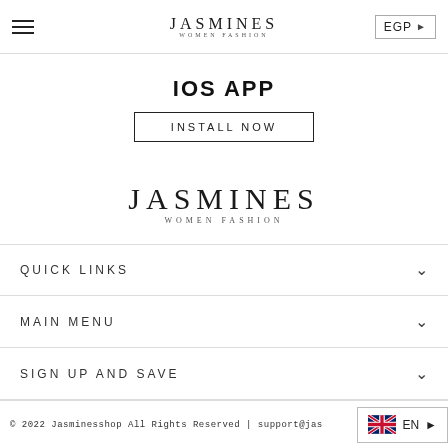JASMINES WOMEN FASHION — EGP navigation header
IOS APP
INSTALL NOW
[Figure (logo): JASMINES WOMEN FASHION logo — large serif text with subtitle]
QUICK LINKS
MAIN MENU
SIGN UP AND SAVE
© 2022 Jasminesshop All Rights Reserved | support@jas... EN